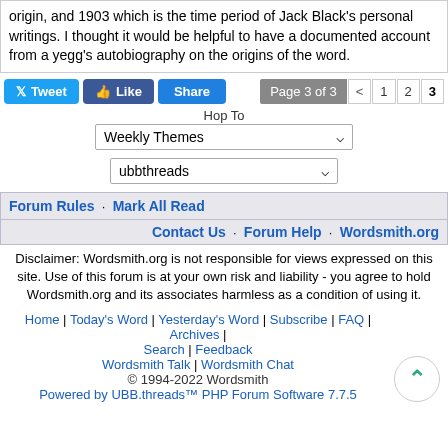origin, and 1903 which is the time period of Jack Black's personal writings. I thought it would be helpful to have a documented account from a yegg's autobiography on the origins of the word.
Tweet · Like · Share  Page 3 of 3  < 1 2 3
Hop To
Weekly Themes
ubbthreads
Forum Rules · Mark All Read
Contact Us · Forum Help · Wordsmith.org
Disclaimer: Wordsmith.org is not responsible for views expressed on this site. Use of this forum is at your own risk and liability - you agree to hold Wordsmith.org and its associates harmless as a condition of using it.
Home | Today's Word | Yesterday's Word | Subscribe | FAQ | Archives | Search | Feedback
Wordsmith Talk | Wordsmith Chat
© 1994-2022 Wordsmith
Powered by UBB.threads™ PHP Forum Software 7.7.5